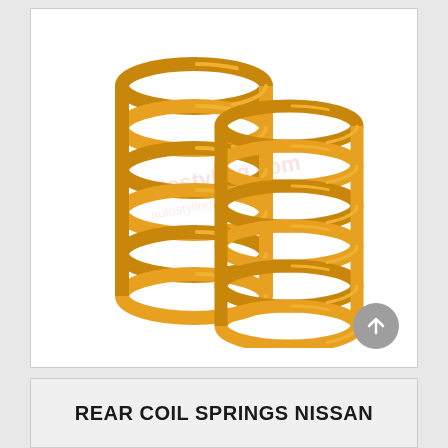[Figure (photo): Two golden/amber colored coil springs (rear coil springs) photographed on white background with faint watermark logo visible]
REAR COIL SPRINGS NISSAN